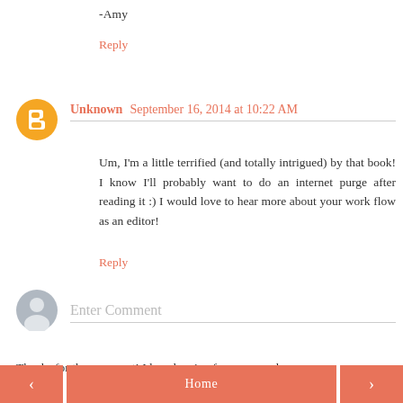-Amy
Reply
Unknown September 16, 2014 at 10:22 AM
Um, I'm a little terrified (and totally intrigued) by that book! I know I'll probably want to do an internet purge after reading it :) I would love to hear more about your work flow as an editor!
Reply
Enter Comment
Thanks for the comment! I love hearing from my readers.